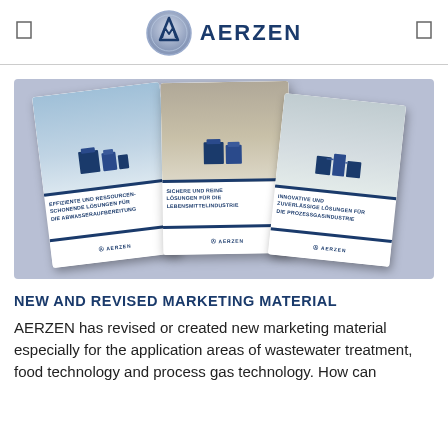AERZEN
[Figure (photo): Three AERZEN brochures fanned out showing marketing materials for wastewater treatment, food technology, and process gas industry applications]
NEW AND REVISED MARKETING MATERIAL
AERZEN has revised or created new marketing material especially for the application areas of wastewater treatment, food technology and process gas technology. How can